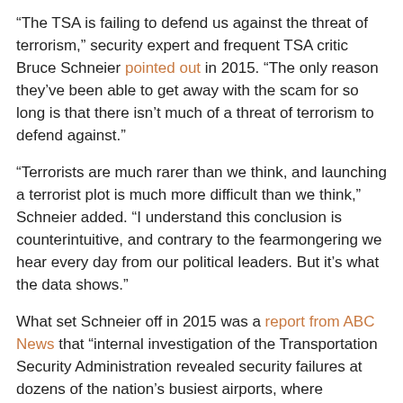“The TSA is failing to defend us against the threat of terrorism,” security expert and frequent TSA critic Bruce Schneier pointed out in 2015. “The only reason they’ve been able to get away with the scam for so long is that there isn’t much of a threat of terrorism to defend against.”
“Terrorists are much rarer than we think, and launching a terrorist plot is much more difficult than we think,” Schneier added. “I understand this conclusion is counterintuitive, and contrary to the fearmongering we hear every day from our political leaders. But it’s what the data shows.”
What set Schneier off in 2015 was a report from ABC News that “internal investigation of the Transportation Security Administration revealed security failures at dozens of the nation’s busiest airports, where undercover investigators were able to smuggle mock explosives or banned weapons through checkpoints in 95 percent of trials.”
The TSA blog carries constant reports of weapons confiscated from people who forgot to remove them from carry-on bags. But the Homeland Security Red Team in the 2015 tests, it has been revealed...